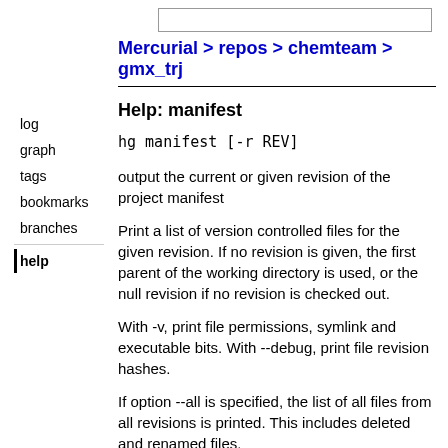Mercurial > repos > chemteam > gmx_trj
Help: manifest
hg manifest [-r REV]
output the current or given revision of the project manifest
Print a list of version controlled files for the given revision. If no revision is given, the first parent of the working directory is used, or the null revision if no revision is checked out.
With -v, print file permissions, symlink and executable bits. With --debug, print file revision hashes.
If option --all is specified, the list of all files from all revisions is printed. This includes deleted and renamed files.